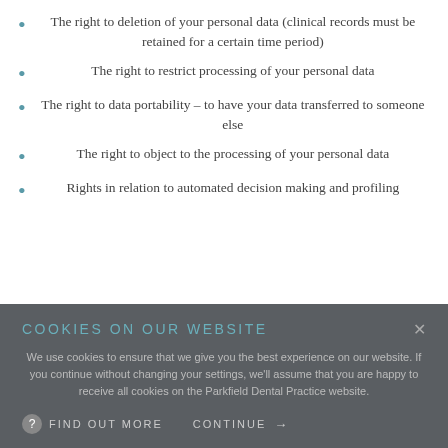The right to deletion of your personal data (clinical records must be retained for a certain time period)
The right to restrict processing of your personal data
The right to data portability – to have your data transferred to someone else
The right to object to the processing of your personal data
Rights in relation to automated decision making and profiling
COOKIES ON OUR WEBSITE
We use cookies to ensure that we give you the best experience on our website. If you continue without changing your settings, we'll assume that you are happy to receive all cookies on the Parkfield Dental Practice website.
FIND OUT MORE   CONTINUE →